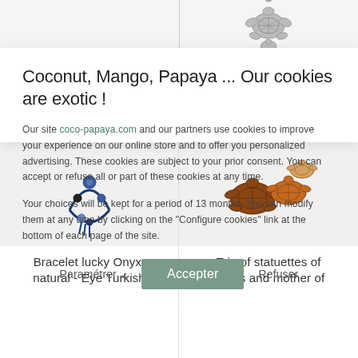[Figure (screenshot): Top strip showing partial product images from an e-commerce site, with a turtle pendant visible on the right side]
Coconut, Mango, Papaya ... Our cookies are exotic !
Our site coco-papaya.com and our partners use cookies to improve your experience on our online store and to offer you personalized advertising. These cookies are subject to your prior consent. You can accept or refuse all or part of these cookies at any time.
Your choices will be kept for a period of 13 months. You can modify them at any time by clicking on the "Configure cookies" link at the bottom of each page of the site.
Paramétrer  Accepter  Refuser
[Figure (photo): Bottom strip showing two product images: Bracelet lucky Onyx natural - Eye Turkish, and Trio of statuettes of turtles and mother of pearl]